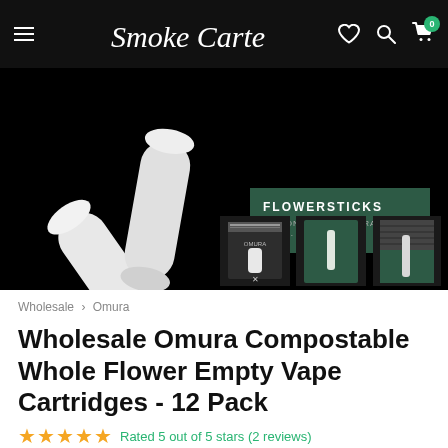Smoke Cartel — Navigation header with hamburger menu, logo, wishlist, search, and cart icons
[Figure (photo): Product photo on black background: two white cylindrical flowersticks crossed in the upper portion, and three product packaging images (box, tube, and combo) shown in a thumbnail row below. A dark green label reads 'FLOWERSTICKS — USE ONLY WITH OMURA HEAT · NOT · BURN'.]
Wholesale › Omura
Wholesale Omura Compostable Whole Flower Empty Vape Cartridges - 12 Pack
Rated 5 out of 5 stars (2 reviews)